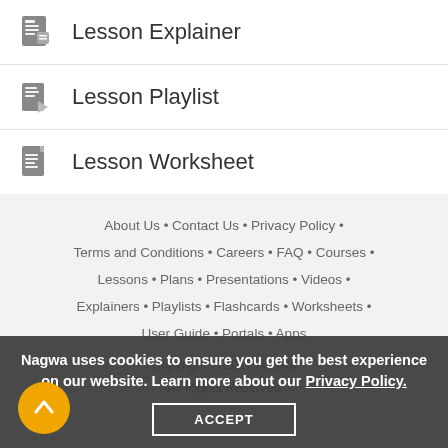Lesson Explainer
Lesson Playlist
Lesson Worksheet
About Us • Contact Us • Privacy Policy • Terms and Conditions • Careers • FAQ • Courses • Lessons • Plans • Presentations • Videos • Explainers • Playlists • Flashcards • Worksheets • User Guide • Portals • Apps
Copyright © 2017 Nagwa
All Rights Reserved
Nagwa uses cookies to ensure you get the best experience on our website. Learn more about our Privacy Policy.